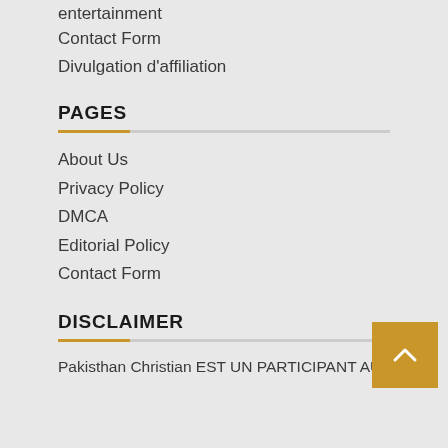entertainment
Contact Form
Divulgation d'affiliation
PAGES
About Us
Privacy Policy
DMCA
Editorial Policy
Contact Form
DISCLAIMER
Pakisthan Christian EST UN PARTICIPANT AU